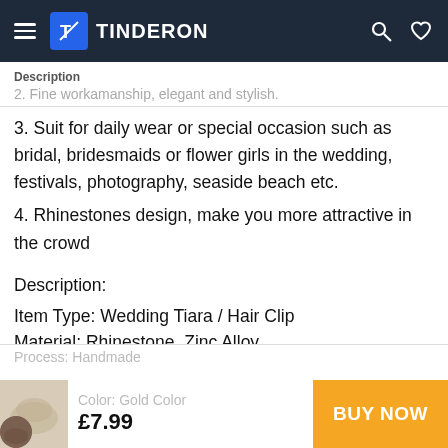TINDERON
Description
2. Fine workamanship, elegant and stylish.
3. Suit for daily wear or special occasion such as bridal, bridesmaids or flower girls in the wedding, festivals, photography, seaside beach etc.
4. Rhinestones design, make you more attractive in the crowd
Description:
Item Type: Wedding Tiara / Hair Clip
Material: Rhinestone, Zinc Alloy
Process: Handmade
Color: Gold Color
£7.99
BUY NOW